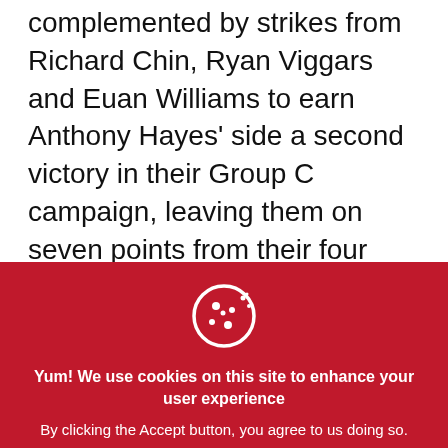complemented by strikes from Richard Chin, Ryan Viggars and Euan Williams to earn Anthony Hayes' side a second victory in their Group C campaign, leaving them on seven points from their four games, so far.
Aaron Henry came closest to breaking the deadlock in the first 45 when his
[Figure (illustration): Cookie icon — a circle with cookie dots pattern, white outline on red background]
Yum! We use cookies on this site to enhance your user experience
By clicking the Accept button, you agree to us doing so.